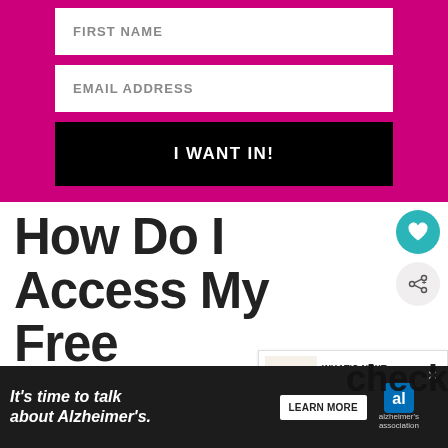[Figure (screenshot): Web form with hot pink background containing FIRST NAME input field, EMAIL ADDRESS input field, and a black I WANT IN! submit button]
How Do I Access My Free Printables?
Fill in the form above. You will receive an
[Figure (infographic): WHAT'S NEXT arrow label with Easter Bingo Free Printable thumbnail and title]
[Figure (infographic): Advertisement bar: It's time to talk about Alzheimer's. LEARN MORE button with Alzheimer's association logo]